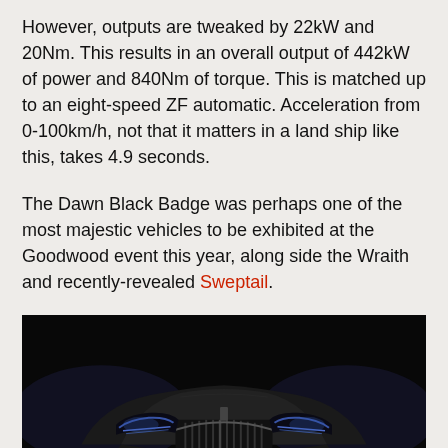However, outputs are tweaked by 22kW and 20Nm. This results in an overall output of 442kW of power and 840Nm of torque. This is matched up to an eight-speed ZF automatic. Acceleration from 0-100km/h, not that it matters in a land ship like this, takes 4.9 seconds.
The Dawn Black Badge was perhaps one of the most majestic vehicles to be exhibited at the Goodwood event this year, along side the Wraith and recently-revealed Sweptail.
[Figure (photo): Front view of a dark/black Rolls-Royce luxury car (Dawn Black Badge) against a dark background, showing the iconic grille and headlights.]